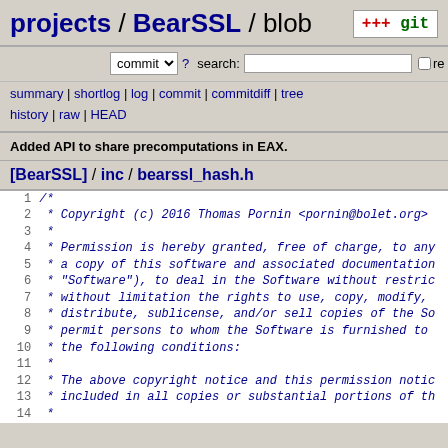projects / BearSSL / blob
commit ? search: re
summary | shortlog | log | commit | commitdiff | tree history | raw | HEAD
Added API to share precomputations in EAX.
[BearSSL] / inc / bearssl_hash.h
1 /*
2  * Copyright (c) 2016 Thomas Pornin <pornin@bolet.org>
3  *
4  * Permission is hereby granted, free of charge, to any
5  * a copy of this software and associated documentation
6  * "Software"), to deal in the Software without restric
7  * without limitation the rights to use, copy, modify,
8  * distribute, sublicense, and/or sell copies of the So
9  * permit persons to whom the Software is furnished to
10  * the following conditions:
11  *
12  * The above copyright notice and this permission notic
13  * included in all copies or substantial portions of th
14  *
15  * THE SOFTWARE IS PROVIDED "AS IS", WITHOUT WARRANTY O
16  * EXPRESS OR IMPLIED, INCLUDING BUT NOT LIMITED TO THE
17  * MERCHANTABILITY, FITNESS FOR A PARTICULAR PURPOSE AN
18  * NONINFRINGEMENT. IN NO EVENT SHALL THE AUTHORS OR CO
19  * BE LIABLE FOR ANY CLAIM, DAMAGES OR OTHER LIABILIT